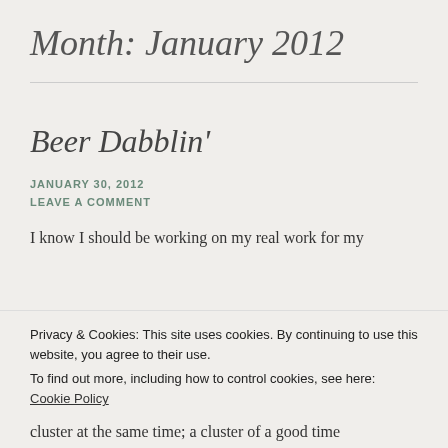Month: January 2012
Beer Dabblin'
JANUARY 30, 2012
LEAVE A COMMENT
I know I should be working on my real work for my
Privacy & Cookies: This site uses cookies. By continuing to use this website, you agree to their use.
To find out more, including how to control cookies, see here: Cookie Policy
Close and accept
cluster at the same time; a cluster of a good time